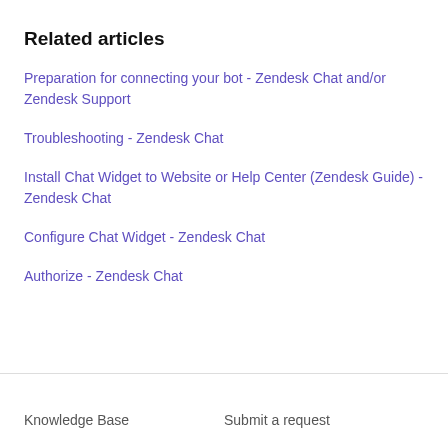Related articles
Preparation for connecting your bot - Zendesk Chat and/or Zendesk Support
Troubleshooting - Zendesk Chat
Install Chat Widget to Website or Help Center (Zendesk Guide) - Zendesk Chat
Configure Chat Widget - Zendesk Chat
Authorize - Zendesk Chat
Knowledge Base    Submit a request